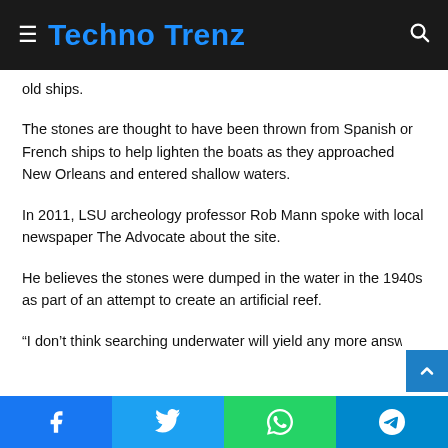Techno Trenz
old ships.
The stones are thought to have been thrown from Spanish or French ships to help lighten the boats as they approached New Orleans and entered shallow waters.
In 2011, LSU archeology professor Rob Mann spoke with local newspaper The Advocate about the site.
He believes the stones were dumped in the water in the 1940s as part of an attempt to create an artificial reef.
“I don’t think searching underwater will yield any more answ…